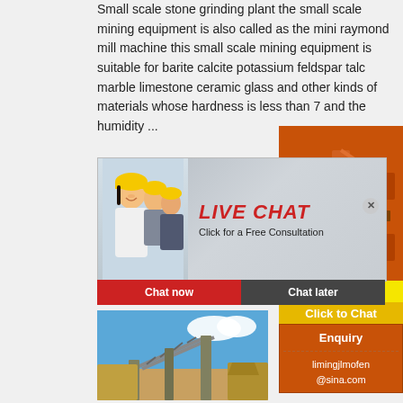Small scale stone grinding plant the small scale mining equipment is also called as the mini raymond mill machine this small scale mining equipment is suitable for barite calcite potassium feldspar talc marble limestone ceramic glass and other kinds of materials whose hardness is less than 7 and the humidity ...
[Figure (photo): Live chat popup overlay showing a smiling woman in hard hat with colleagues in background, red LIVE CHAT title text, 'Click for a Free Consultation' subtitle, and Chat now / Chat later buttons]
[Figure (photo): Outdoor mining/quarry site with conveyor belts and heavy machinery under a blue sky]
[Figure (photo): Orange sidebar advertisement showing mining machines, 'Enjoy 3% discount' yellow bar, 'Click to Chat' button, Enquiry section with email limingjlmofen@sina.com]